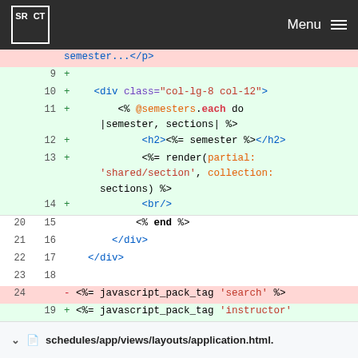SRCT — Menu
[Figure (screenshot): Code diff view showing additions and deletions in a Rails ERB template file, with line numbers in two columns (old and new). Lines show HTML and Ruby erb syntax including div tags, @semesters.each, render partial, br, end, javascript_pack_tag, and stylesheet_link_tag.]
schedules/app/views/layouts/application.html.